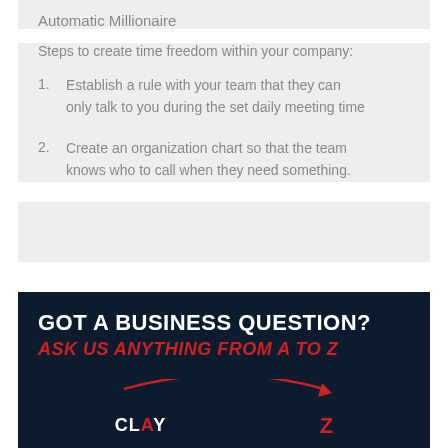Automatic Millionaire
Steps to create time freedom within your company:
Establish a rule with your team that they can only talk to you during the set daily meeting time
Create an organization chart so that the team knows who to call when they need something.
[Figure (infographic): Dark navy banner with white bold text 'GOT A BUSINESS QUESTION?' and red italic bold text 'ASK US ANYTHING FROM A TO Z', with a red arc arrow pointing from 'CLAY' to 'Z' and bottom text 'SUBMIT A QUESTION & GET A PODCAST']